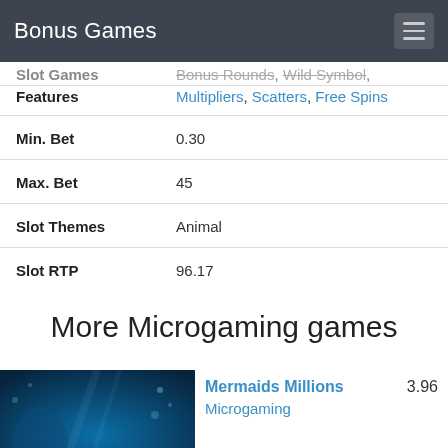Bonus Games
| Field | Value |
| --- | --- |
| Slot Games | Bonus Rounds, Wild Symbol, Multipliers, Scatters, Free Spins |
| Min. Bet | 0.30 |
| Max. Bet | 45 |
| Slot Themes | Animal |
| Slot RTP | 96.17 |
More Microgaming games
[Figure (screenshot): Mermaids Millions game thumbnail with underwater scene and stylized logo text]
Mermaids Millions 3.96 Microgaming